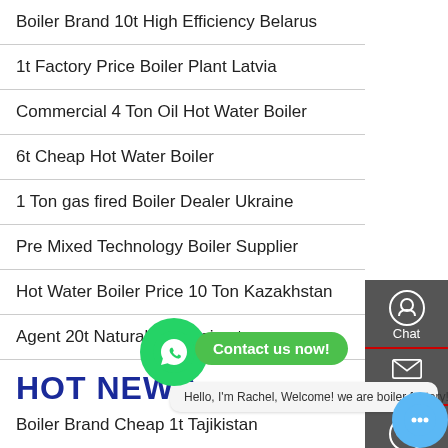Boiler Brand 10t High Efficiency Belarus
1t Factory Price Boiler Plant Latvia
Commercial 4 Ton Oil Hot Water Boiler
6t Cheap Hot Water Boiler
1 Ton gas fired Boiler Dealer Ukraine
Pre Mixed Technology Boiler Supplier
Hot Water Boiler Price 10 Ton Kazakhstan
Agent 20t Natural Gas Boi...nt
HOT NEWS
Boiler Brand Cheap 1t Tajikistan
Hello, I'm Rachel, Welcome! we are boiler factory!